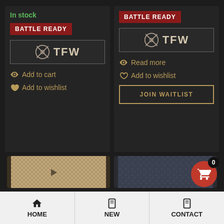In stock
BATTLE READY
[Figure (logo): TFW logo with crosshair icon inside a bordered box, left product card]
Add to cart
Add to wishlist
BATTLE READY
[Figure (logo): TFW logo with crosshair icon inside a bordered box, right product card]
Read more
Add to wishlist
JOIN WAITLIST
[Figure (photo): Partial product image bottom left, woven textile texture]
[Figure (photo): Partial product image bottom right, dark stone/rock texture]
HOME | NEW | CONTACT